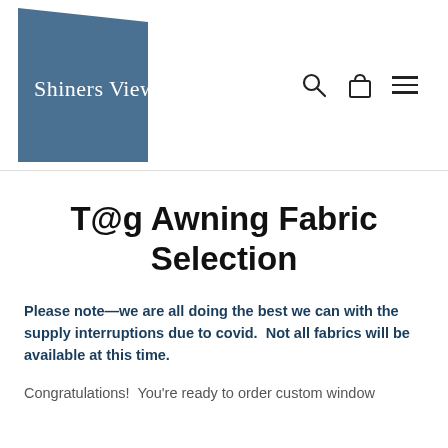[Figure (logo): ShinersView logo — white serif text 'ShinersView' on a dark steel-blue quadrilateral/trapezoid shape]
T@g Awning Fabric Selection
Please note—we are all doing the best we can with the supply interruptions due to covid.  Not all fabrics will be available at this time.
Congratulations!  You're ready to order custom window